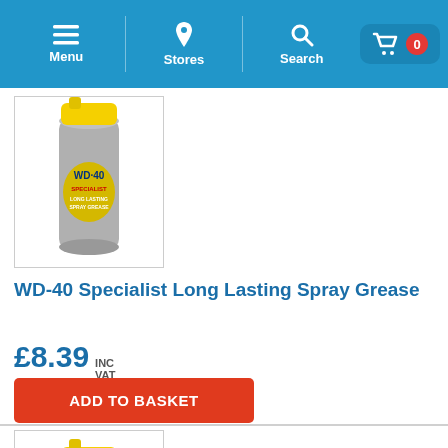Menu | Stores | Search | Basket (0)
[Figure (photo): WD-40 Specialist Long Lasting Spray Grease aerosol can with yellow cap, grey/dark body with yellow WD-40 logo and label]
WD-40 Specialist Long Lasting Spray Grease
£8.39 INC VAT
ADD TO BASKET
[Figure (photo): Partial view of second WD-40 spray can product with yellow cap, bottom of page]